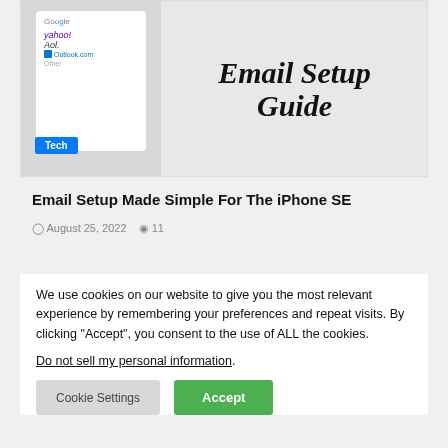[Figure (screenshot): Card with phone showing email providers (Gmail, Yahoo, AOL, Outlook) and large text 'Email Setup Guide' with a Tech badge]
Email Setup Made Simple For The iPhone SE
August 25, 2022  11
We use cookies on our website to give you the most relevant experience by remembering your preferences and repeat visits. By clicking “Accept”, you consent to the use of ALL the cookies.
Do not sell my personal information.
Cookie Settings   Accept